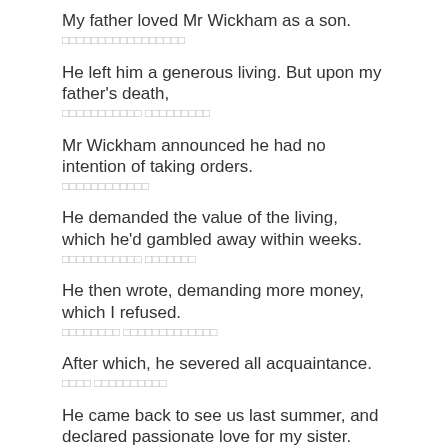My father loved Mr Wickham as a son.
□□□□□□□□□□□□□□□□□
He left him a generous living. But upon my father's death,
□□□□□□□□□□□ □□□□□□□□□
Mr Wickham announced he had no intention of taking orders.
□□□□□□□□□□□□
He demanded the value of the living, which he'd gambled away within weeks.
□□□□□□□□□□□ □□□□□□□
He then wrote, demanding more money, which I refused.
□□□□□□□□ □□□□□□□□□□□□□
After which, he severed all acquaintance.
□□□□ □□□□□□□□□□
He came back to see us last summer, and declared passionate love for my sister.